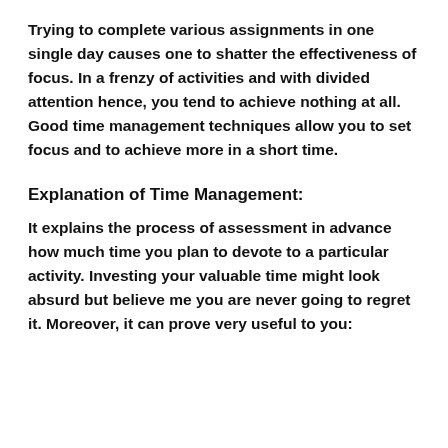Trying to complete various assignments in one single day causes one to shatter the effectiveness of focus. In a frenzy of activities and with divided attention hence, you tend to achieve nothing at all. Good time management techniques allow you to set focus and to achieve more in a short time.
Explanation of Time Management:
It explains the process of assessment in advance how much time you plan to devote to a particular activity. Investing your valuable time might look absurd but believe me you are never going to regret it. Moreover, it can prove very useful to you: